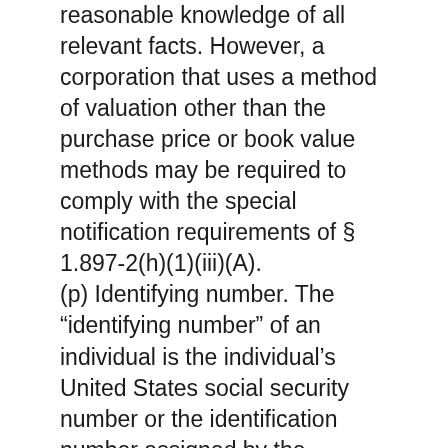reasonable knowledge of all relevant facts. However, a corporation that uses a method of valuation other than the purchase price or book value methods may be required to comply with the special notification requirements of § 1.897-2(h)(1)(iii)(A).
(p) Identifying number. The “identifying number” of an individual is the individual’s United States social security number or the identification number assigned by the Internal Revenue Service (see § 301.6109-1 of this chapter). The “identifying number” of any other person is its United States employer identification number.